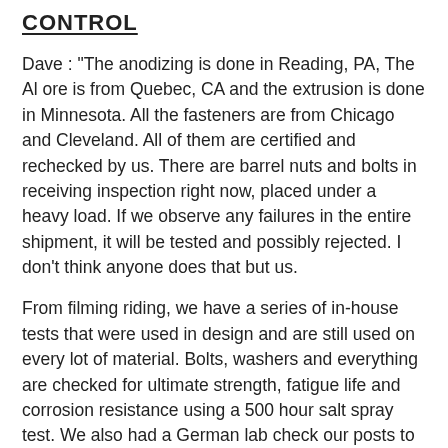CONTROL
Dave : "The anodizing is done in Reading, PA, The Al ore is from Quebec, CA and the extrusion is done in Minnesota. All the fasteners are from Chicago and Cleveland. All of them are certified and rechecked by us. There are barrel nuts and bolts in receiving inspection right now, placed under a heavy load. If we observe any failures in the entire shipment, it will be tested and possibly rejected. I don’t think anyone does that but us.
From filming riding, we have a series of in-house tests that were used in design and are still used on every lot of material. Bolts, washers and everything are checked for ultimate strength, fatigue life and corrosion resistance using a 500 hour salt spray test. We also had a German lab check our posts to the CEN standard. We think the CEN is a poorly designed test, but we passed it as well. The 500 hour salt spray test is run on samples from each anodize lot to verify quality. Further, we have a fatigue tester. We can put a post in it, set the bolts at the level the customer had them and create that failure. There just is no question of what